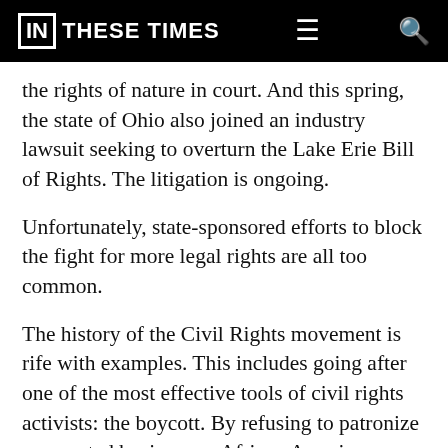IN THESE TIMES
the rights of nature in court. And this spring, the state of Ohio also joined an industry lawsuit seeking to overturn the Lake Erie Bill of Rights. The litigation is ongoing.
Unfortunately, state-sponsored efforts to block the fight for more legal rights are all too common.
The history of the Civil Rights movement is rife with examples. This includes going after one of the most effective tools of civil rights activists: the boycott. By refusing to patronize segregated businesses, African Americans were able to demonstrate their economic necessity to communities, leading to many shops and lunch counters opening their doors to black